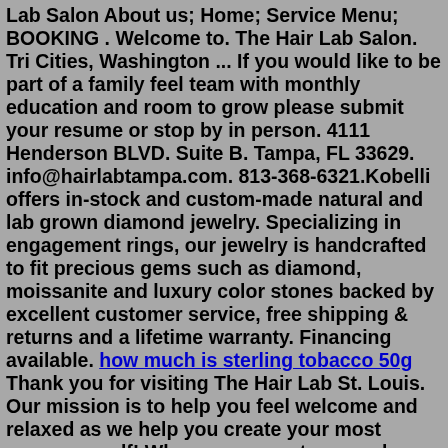Lab Salon About us; Home; Service Menu; BOOKING . Welcome to. The Hair Lab Salon. Tri Cities, Washington ... If you would like to be part of a family feel team with monthly education and room to grow please submit your resume or stop by in person. 4111 Henderson BLVD. Suite B. Tampa, FL 33629. info@hairlabtampa.com. 813-368-6321.Kobelli offers in-stock and custom-made natural and lab grown diamond jewelry. Specializing in engagement rings, our jewelry is handcrafted to fit precious gems such as diamond, moissanite and luxury color stones backed by excellent customer service, free shipping & returns and a lifetime warranty. Financing available. how much is sterling tobacco 50g Thank you for visiting The Hair Lab St. Louis. Our mission is to help you feel welcome and relaxed as we help you create your most awesome self! When you come to our salon, you can expect to find yourself in a space of unpretentious coolness. You'll be greeted by the biggest bunch of hair nerds you The Hair Lab is a unisex salon, and our ladies hairdressing team offer a